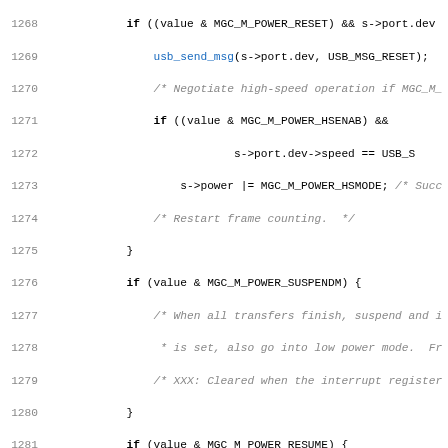[Figure (screenshot): Source code listing (C language) showing lines 1268-1299, with line numbers on the left, keywords in bold, blue hyperlinks for hex constants and function calls, and italicized grey comments.]